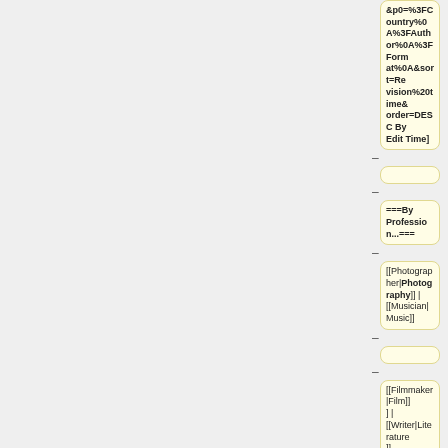&p0=%3FCountry%0A%3FAuthor%0A%3FFormat%0A&sort=Revision%20time&order=DESC By Edit Time]
===By Profession...===
[[Photographer|Photography]] | [[Musician|Music]]
[[Filmmaker|Film]] | [[Writer|Literature]]